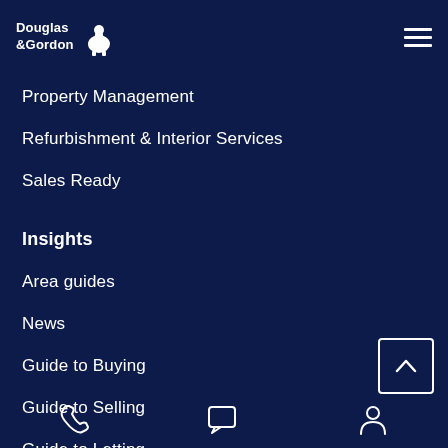[Figure (logo): Douglas & Gordon logo with white stag icon and white text 'Douglas & Gordon']
Property Management
Refurbishment & Interior Services
Sales Ready
Insights
Area guides
News
Guide to Buying
Guide to Selling
Guide to Letting